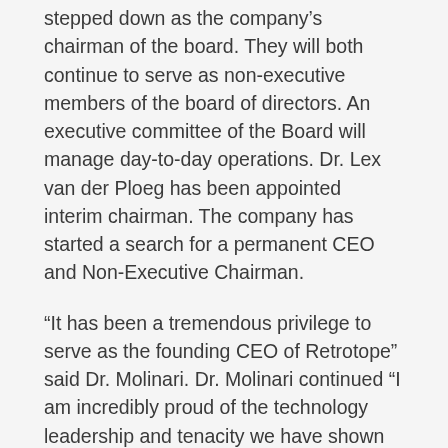stepped down as the company's chairman of the board. They will both continue to serve as non-executive members of the board of directors. An executive committee of the Board will manage day-to-day operations. Dr. Lex van der Ploeg has been appointed interim chairman. The company has started a search for a permanent CEO and Non-Executive Chairman.
“It has been a tremendous privilege to serve as the founding CEO of Retrotope” said Dr. Molinari. Dr. Molinari continued “I am incredibly proud of the technology leadership and tenacity we have shown that allowed us to conceive, fund and develop a powerful new paradigm to treat diseases of degeneration from an idea to a drug platform in trials in multiple diseases in many dozens of patients. The disease-modifying improvements we see in these early stage human trials for treatment of a host of otherwise intractable neurological diseases are